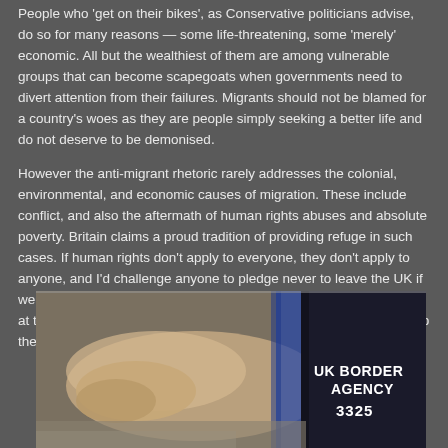People who 'get on their bikes', as Conservative politicians advise, do so for many reasons — some life-threatening, some 'merely' economic. All but the wealthiest of them are among vulnerable groups that can become scapegoats when governments need to divert attention from their failures. Migrants should not be blamed for a country's woes as they are people simply seeking a better life and do not deserve to be demonised.
However the anti-migrant rhetoric rarely addresses the colonial, environmental, and economic causes of migration. These include conflict, and also the aftermath of human rights abuses and absolute poverty. Britain claims a proud tradition of providing refuge in such cases. If human rights don't apply to everyone, they don't apply to anyone, and I'd challenge anyone to pledge never to leave the UK if we were sunk by say, rising sea levels or a fascist regime. However at times of major migration, there are always those who want to keep the stranger out.
[Figure (photo): A photograph showing a hand/arm with a UK Border Agency armband marked with number 3325]